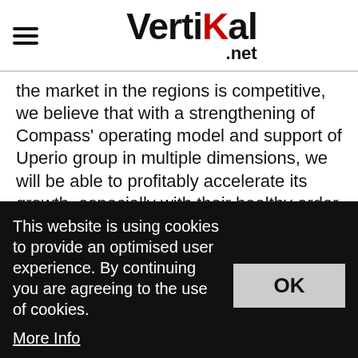Vertikal.net
the market in the regions is competitive, we believe that with a strengthening of Compass' operating model and support of Uperio group in multiple dimensions, we will be able to profitably accelerate its growth, especially with their healthy order backlog"
“We aim high, we act as a game changer, and we are people driven. With our new colleagues from the western USA, we plan to raise the quality of our
This website is using cookies to provide an optimised user experience. By continuing you are agreeing to the use of cookies. More Info
OK